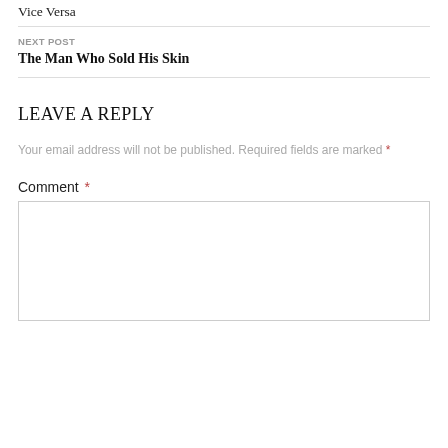Vice Versa
NEXT POST
The Man Who Sold His Skin
LEAVE A REPLY
Your email address will not be published. Required fields are marked *
Comment *